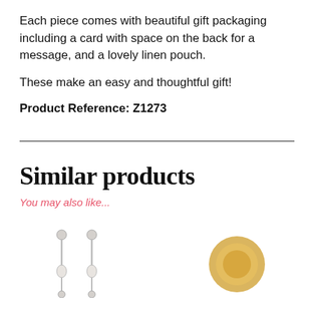Each piece comes with beautiful gift packaging including a card with space on the back for a message, and a lovely linen pouch.
These make an easy and thoughtful gift!
Product Reference: Z1273
Similar products
You may also like...
[Figure (photo): Two hanging earrings with pearl-like beads on the left, and a round golden ring or pendant on the right]